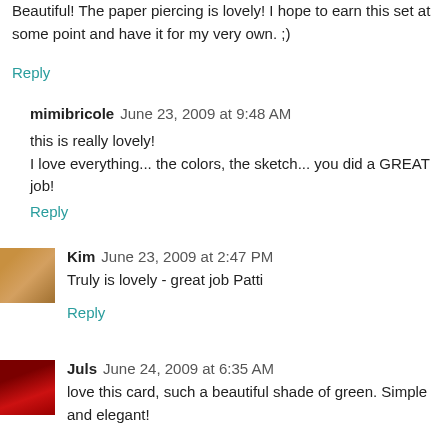Beautiful! The paper piercing is lovely! I hope to earn this set at some point and have it for my very own. ;)
Reply
mimibricole June 23, 2009 at 9:48 AM
this is really lovely!
I love everything... the colors, the sketch... you did a GREAT job!
Reply
Kim June 23, 2009 at 2:47 PM
Truly is lovely - great job Patti
Reply
Juls June 24, 2009 at 6:35 AM
love this card, such a beautiful shade of green. Simple and elegant!